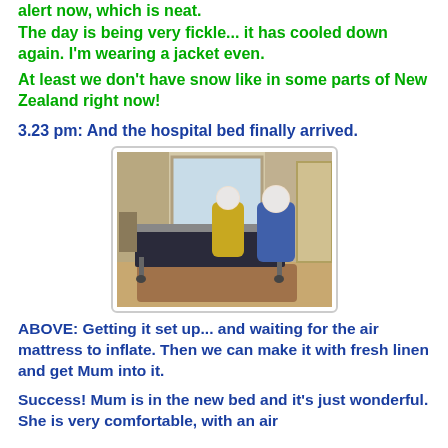alert now, which is neat.
The day is being very fickle... it has cooled down again. I'm wearing a jacket even.
At least we don't have snow like in some parts of New Zealand right now!
3.23 pm:  And the hospital bed finally arrived.
[Figure (photo): Two people (faces blurred) setting up a hospital bed with a dark mattress in a home room. One person is in yellow, one in blue. The room has windows and curtains in the background.]
ABOVE:  Getting it set up... and waiting for the air mattress to inflate. Then we can make it with fresh linen and get Mum into it.
Success!  Mum is in the new bed and it's just wonderful.  She is very comfortable, with an air